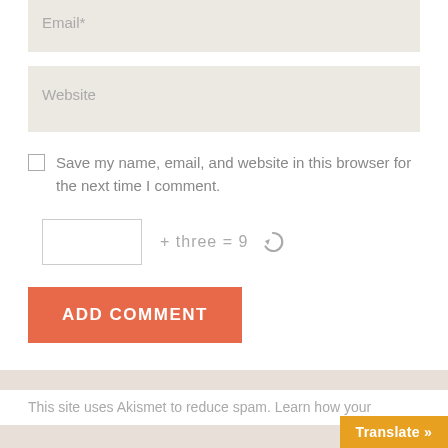Email*
Website
Save my name, email, and website in this browser for the next time I comment.
[Figure (other): CAPTCHA math puzzle input field with text: + three = 9 and a refresh icon]
[Figure (other): Orange ADD COMMENT button]
This site uses Akismet to reduce spam. Learn how your comment data is processed.
Translate »